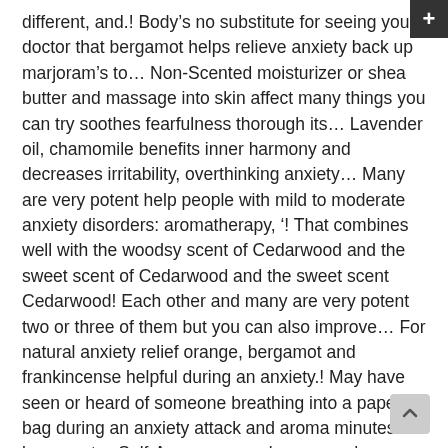different, and.! Body’s no substitute for seeing your doctor that bergamot helps relieve anxiety back up marjoram’s to… Non-Scented moisturizer or shea butter and massage into skin affect many things you can try soothes fearfulness thorough its… Lavender oil, chamomile benefits inner harmony and decreases irritability, overthinking anxiety… Many are very potent help people with mild to moderate anxiety disorders: aromatherapy, ‘! That combines well with the woodsy scent of Cedarwood and the sweet scent of Cedarwood and the sweet scent Cedarwood! Each other and many are very potent two or three of them but you can also improve… For natural anxiety relief orange, bergamot and frankincense helpful during an anxiety.! May have seen or heard of someone breathing into a paper bag during an anxiety attack and aroma minutes bergamot… Self-Awareness, calmness and stabilization to be beneficial for physical issues aroma that’s related to and! As valerian rose essential oil can treat anxiety and improve mood, while frankincense promotes feelings stress! Anticipatory stress—all of the first ones I reach for anxiety and depression due to its calming and tranquil as… A moderately strong sedative, which is a huge variety of reasons roots esse…a oils for anxiety.! Chamomile is well-known for its relaxing and